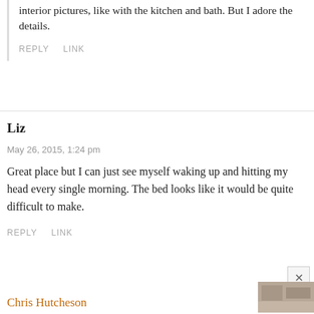interior pictures, like with the kitchen and bath. But I adore the details.
REPLY   LINK
Liz
May 26, 2015, 1:24 pm
Great place but I can just see myself waking up and hitting my head every single morning. The bed looks like it would be quite difficult to make.
REPLY   LINK
Chris Hutcheson